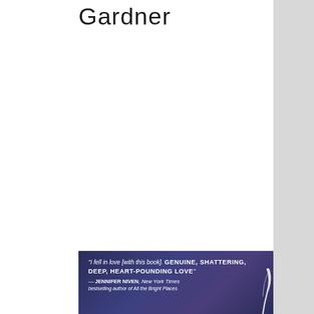Gardner
[Figure (illustration): Dark blue/purple banner with quote text and a feather illustration at bottom right. Quote reads: 'I fell in love [with this book]. GENUINE, SHATTERING, DEEP, HEART-POUNDING LOVE' — JENNIFER NIVEN, New York Times bestselling author of All the Bright Places]